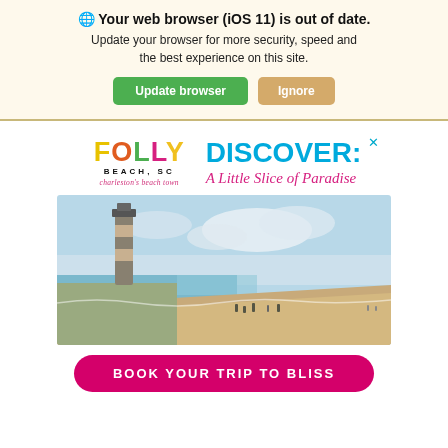🌐 Your web browser (iOS 11) is out of date. Update your browser for more security, speed and the best experience on this site.
Update browser | Ignore
[Figure (logo): Folly Beach SC - charleston's beach town logo with colorful letters]
DISCOVER: A Little Slice of Paradise
[Figure (photo): Beach scene with a lighthouse on the left, sandy shore with people walking, blue sky with clouds]
BOOK YOUR TRIP TO BLISS